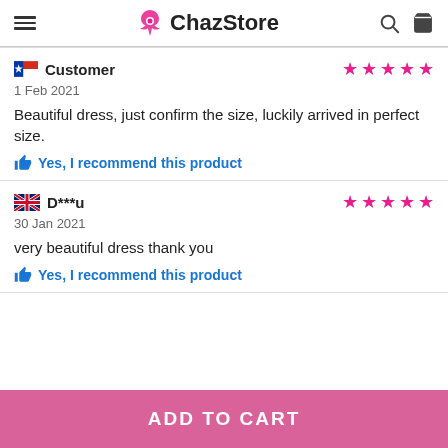ChazStore
Customer | 1 Feb 2021 | Beautiful dress, just confirm the size, luckily arrived in perfect size. | Yes, I recommend this product
D***u | 30 Jan 2021 | very beautiful dress thank you | Yes, I recommend this product